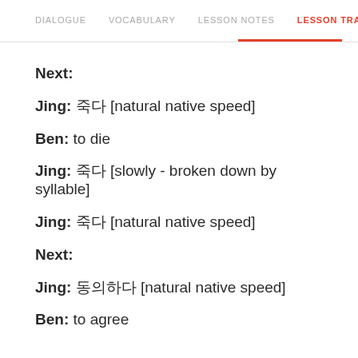DIALOGUE  VOCABULARY  LESSON NOTES  LESSON TRANSCRIPT  C
Next:
Jing: 죽다 [natural native speed]
Ben: to die
Jing: 죽다 [slowly - broken down by syllable]
Jing: 죽다 [natural native speed]
Next:
Jing: 동의하다 [natural native speed]
Ben: to agree